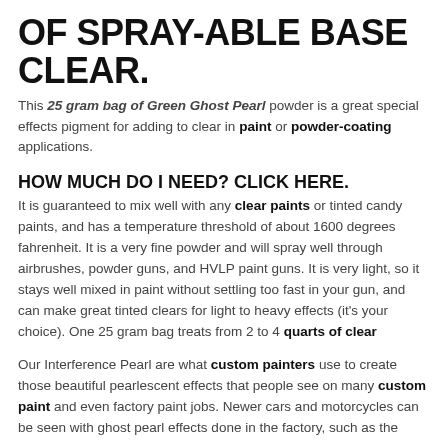OF SPRAY-ABLE BASE CLEAR.
This 25 gram bag of Green Ghost Pearl powder is a great special effects pigment for adding to clear in paint or powder-coating applications.
HOW MUCH DO I NEED? CLICK HERE.
It is guaranteed to mix well with any clear paints or tinted candy paints, and has a temperature threshold of about 1600 degrees fahrenheit. It is a very fine powder and will spray well through airbrushes, powder guns, and HVLP paint guns. It is very light, so it stays well mixed in paint without settling too fast in your gun, and can make great tinted clears for light to heavy effects (it's your choice). One 25 gram bag treats from 2 to 4 quarts of clear
Our Interference Pearl are what custom painters use to create those beautiful pearlescent effects that people see on many custom paint and even factory paint jobs. Newer cars and motorcycles can be seen with ghost pearl effects done in the factory, such as the